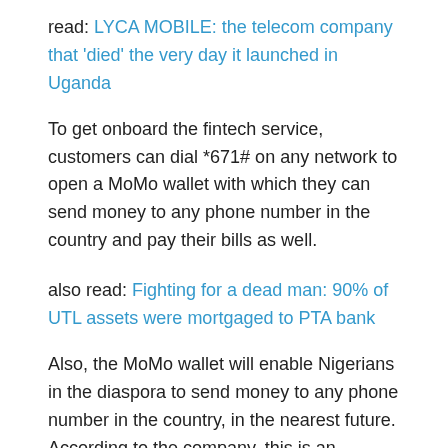read: LYCA MOBILE: the telecom company that 'died' the very day it launched in Uganda
To get onboard the fintech service, customers can dial *671# on any network to open a MoMo wallet with which they can send money to any phone number in the country and pay their bills as well.
also read: Fighting for a dead man: 90% of UTL assets were mortgaged to PTA bank
Also, the MoMo wallet will enable Nigerians in the diaspora to send money to any phone number in the country, in the nearest future. According to the company, this is an important feature given Nigeria's ranking as the destination for the highest remittance inflow in Sub-Saharan Africa.
(partial text cut off at bottom)